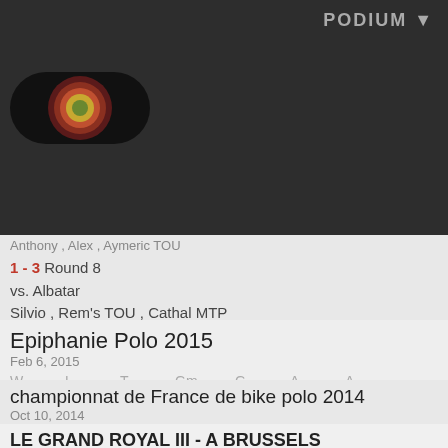PODIUM ▼
[Figure (logo): Dark pill-shaped logo with concentric circles in dark/red/yellow/green]
Anthony , Alex , Aymeric TOU
1 - 3 Round 8
vs. Albatar
Silvio , Rem's TOU , Cathal MTP
Epiphanie Polo 2015
Feb 6, 2015
| W | L | T | Gm | G | A | Δ |
| --- | --- | --- | --- | --- | --- | --- |
| 4 | 3 | 2 | 9 | 21 | 18 | +3 |
championnat de France de bike polo 2014
Oct 10, 2014
| W | L | T | Gm | G | A | Δ |
| --- | --- | --- | --- | --- | --- | --- |
| 7 | 3 | 1 | 11 | 34 | 22 | +12 |
LE GRAND ROYAL III - A BRUSSELS
BIKE POLO Tournament